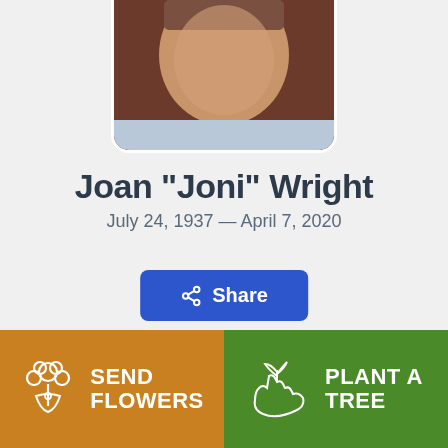[Figure (photo): Portrait photo of Joan 'Joni' Wright, partially cropped at top, showing face and upper torso with light blue shirt. Photo has rounded bottom corners and white border.]
Joan "Joni" Wright
July 24, 1937 — April 7, 2020
[Figure (other): Blue Share button with share icon]
Obi...
[Figure (other): Orange SEND FLOWERS button with flower bouquet icon]
[Figure (other): Green PLANT A TREE button with plant/hand icon]